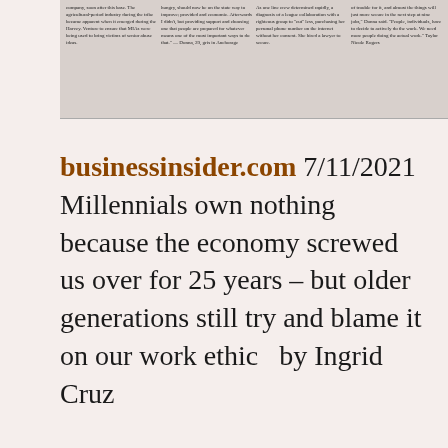[Figure (photo): Cropped newspaper article photo showing columns of small printed text in a multi-column newspaper layout, partially visible at top of page]
businessinsider.com 7/11/2021 Millennials own nothing because the economy screwed us over for 25 years – but older generations still try and blame it on our work ethic  by Ingrid Cruz